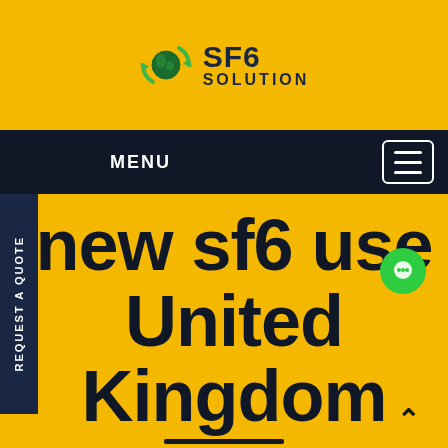[Figure (logo): SF6 Solution logo with circular green recycling arrows around a globe icon, with text SF6 SOLUTION]
MENU
REQUEST A QUOTE
new sf6 use United Kingdom